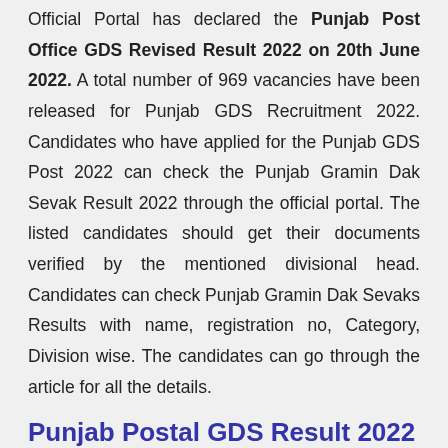Official Portal has declared the Punjab Post Office GDS Revised Result 2022 on 20th June 2022. A total number of 969 vacancies have been released for Punjab GDS Recruitment 2022. Candidates who have applied for the Punjab GDS Post 2022 can check the Punjab Gramin Dak Sevak Result 2022 through the official portal. The listed candidates should get their documents verified by the mentioned divisional head. Candidates can check Punjab Gramin Dak Sevaks Results with name, registration no, Category, Division wise. The candidates can go through the article for all the details.
Punjab Postal GDS Result 2022 – Overview
Candidates can go through the details for the Punjab